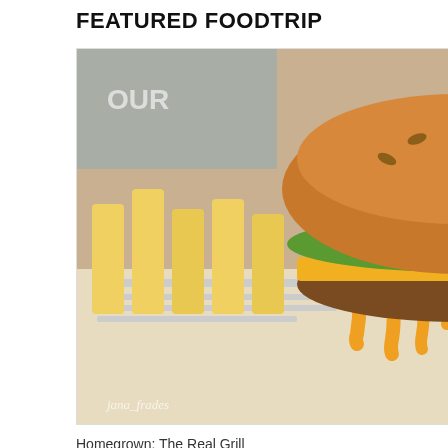FEATURED FOODTRIP
[Figure (photo): Photo of a large burger with melted cheese and fries on newspaper-lined tray, watermark 'jana_frades']
Homegrown: The Real Grill Burger
Who to Meet
[Figure (photo): Group photo of people holding bowls outdoors near industrial fence]
Thank you for rea... Saan pa kaya dac... Kindly leave a co...
on August 01, 20...
Labels: Big Burge... Bautista, Valenz...
No commen...
Post a Comm...
Enter Co...
Newer Post